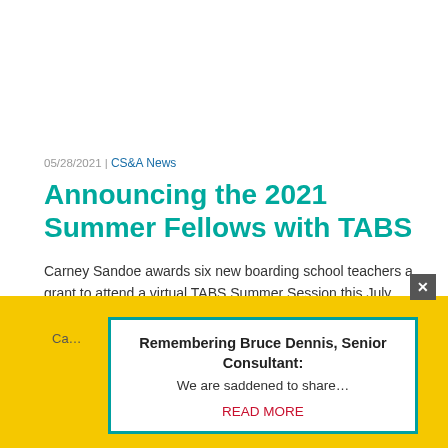05/28/2021 | CS&A News
Announcing the 2021 Summer Fellows with TABS
Carney Sandoe awards six new boarding school teachers a grant to attend a virtual TABS Summer Session this July.
READ MORE
Remembering Bruce Dennis, Senior Consultant: We are saddened to share… READ MORE